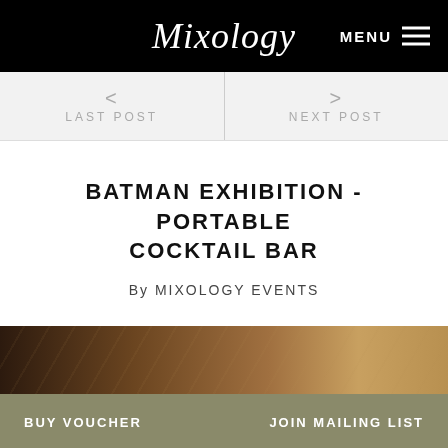Mixology   MENU
< LAST POST
> NEXT POST
BATMAN EXHIBITION - PORTABLE COCKTAIL BAR
By MIXOLOGY EVENTS
[Figure (photo): Dark warm-toned textured photo strip, brown and golden tones, likely a wood or leather surface]
BUY VOUCHER   JOIN MAILING LIST